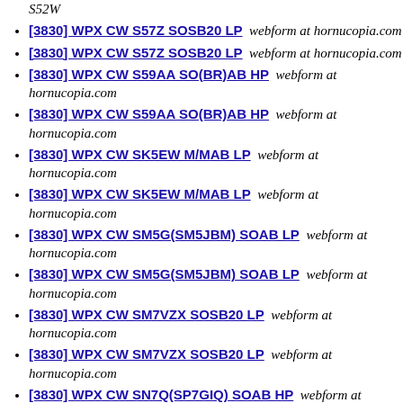S52W
[3830] WPX CW S57Z SOSB20 LP  webform at hornucopia.com
[3830] WPX CW S57Z SOSB20 LP  webform at hornucopia.com
[3830] WPX CW S59AA SO(BR)AB HP  webform at hornucopia.com
[3830] WPX CW S59AA SO(BR)AB HP  webform at hornucopia.com
[3830] WPX CW SK5EW M/MAB LP  webform at hornucopia.com
[3830] WPX CW SK5EW M/MAB LP  webform at hornucopia.com
[3830] WPX CW SM5G(SM5JBM) SOAB LP  webform at hornucopia.com
[3830] WPX CW SM5G(SM5JBM) SOAB LP  webform at hornucopia.com
[3830] WPX CW SM7VZX SOSB20 LP  webform at hornucopia.com
[3830] WPX CW SM7VZX SOSB20 LP  webform at hornucopia.com
[3830] WPX CW SN7Q(SP7GIQ) SOAB HP  webform at hornucopia.com
[3830] WPX CW SN7Q(SP7GIQ) SOAB HP  webform at hornucopia.com
[3830] WPX CW SN7Q(SP7GIQ) SOAB HP  webform at hornucopia.com